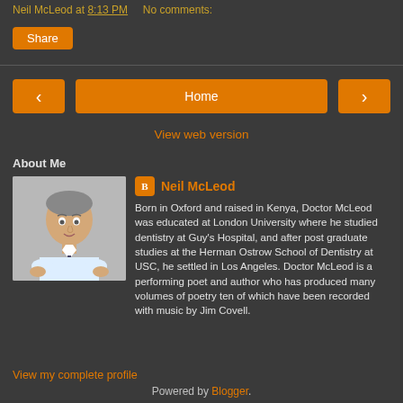Neil McLeod at 8:13 PM   No comments:
Share
< Home >
View web version
About Me
[Figure (photo): Profile photo of Neil McLeod, a middle-aged man in a white shirt and tie, standing with hands on hips against a white background]
Neil McLeod
Born in Oxford and raised in Kenya, Doctor McLeod was educated at London University where he studied dentistry at Guy's Hospital, and after post graduate studies at the Herman Ostrow School of Dentistry at USC, he settled in Los Angeles. Doctor McLeod is a performing poet and author who has produced many volumes of poetry ten of which have been recorded with music by Jim Covell.
View my complete profile
Powered by Blogger.